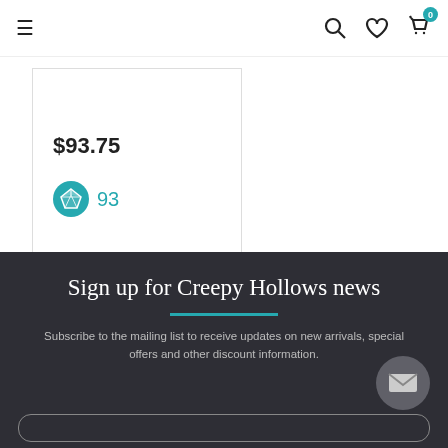≡   🔍 ♡ 🛍 0
$93.75
[Figure (logo): Teal circular gem/diamond icon with white diamond shape inside, followed by the number 93 in teal]
Sign up for Creepy Hollows news
Subscribe to the mailing list to receive updates on new arrivals, special offers and other discount information.